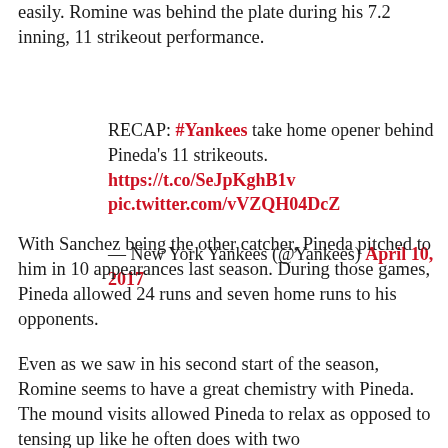easily. Romine was behind the plate during his 7.2 inning, 11 strikeout performance.
RECAP: #Yankees take home opener behind Pineda's 11 strikeouts. https://t.co/SeJpKghB1v pic.twitter.com/vVZQH04DcZ
— New York Yankees (@Yankees) April 10, 2017
With Sanchez being the other catcher, Pineda pitched to him in 10 appearances last season. During those games, Pineda allowed 24 runs and seven home runs to his opponents.
Even as we saw in his second start of the season, Romine seems to have a great chemistry with Pineda. The mound visits allowed Pineda to relax as opposed to tensing up like he often does with two